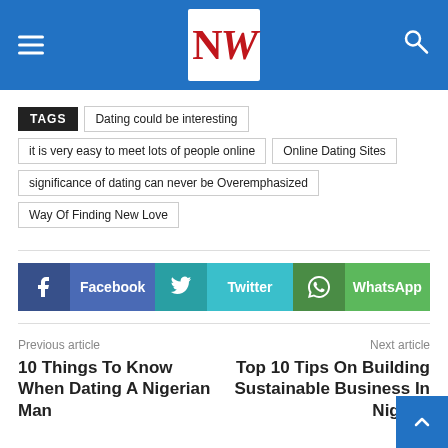NW (logo) — navigation header with hamburger menu and search icon
TAGS   Dating could be interesting   it is very easy to meet lots of people online   Online Dating Sites   significance of dating can never be Overemphasized   Way Of Finding New Love
[Figure (infographic): Social share buttons: Facebook, Twitter, WhatsApp]
Previous article
10 Things To Know When Dating A Nigerian Man
Next article
Top 10 Tips On Building Sustainable Business In Nigeria